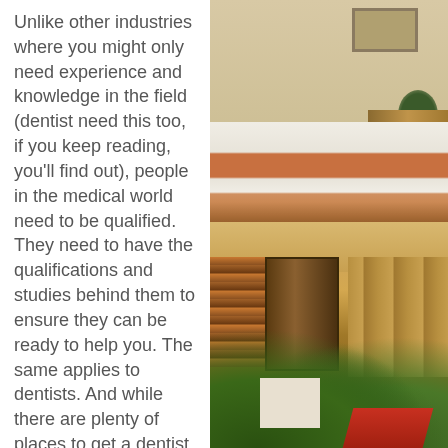Unlike other industries where you might only need experience and knowledge in the field (dentist need this too, if you keep reading, you'll find out), people in the medical world need to be qualified. They need to have the qualifications and studies behind them to ensure they can be ready to help you. The same applies to dentists. And while there are plenty of places to get a dentist
[Figure (photo): A spa or massage room with a treatment table featuring a white surface with an orange/rust colored runner, a plant in the background, a framed picture on the wall, and wooden shelving.]
[Figure (photo): A hotel or medical clinic lobby or corridor with wood-paneled decorative walls, green tropical plants, a white partition wall, warm amber/gold lighting on ceiling, and red decorative elements.]